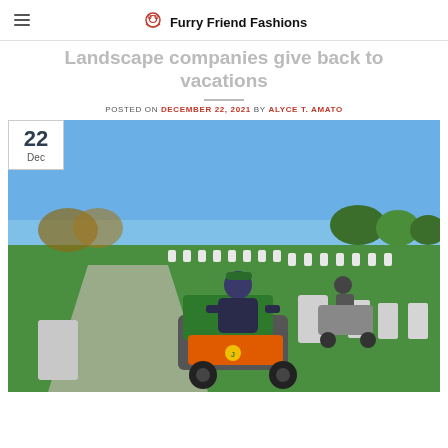Furry Friend Fashions
Landscape companies give back to vacations
POSTED ON DECEMBER 22, 2021 BY ALYCE T. AMATO
[Figure (photo): Person riding a green and orange lawn spreader machine between rows of white headstones at a military cemetery on a sunny day, with another operator visible in the background.]